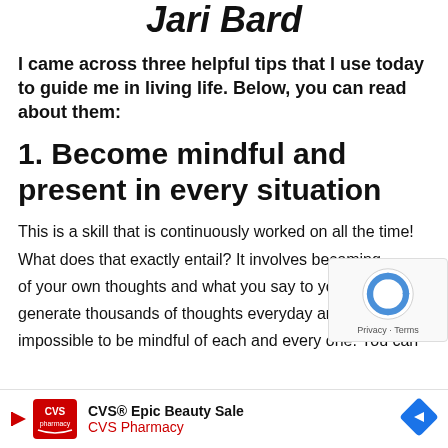Jari Bard
I came across three helpful tips that I use today to guide me in living life. Below, you can read about them:
1. Become mindful and present in every situation
This is a skill that is continuously worked on all the time! What does that exactly entail? It involves becoming aware of your own thoughts and what you say to yourself. We generate thousands of thoughts everyday and it's impossible to be mindful of each and every one. You can be mindful
[Figure (screenshot): CVS Epic Beauty Sale advertisement banner at the bottom of the page, with CVS Pharmacy logo, text 'CVS® Epic Beauty Sale / CVS Pharmacy', and a blue navigation arrow icon]
[Figure (screenshot): Google reCAPTCHA widget overlay showing the circular arrow logo and Privacy - Terms text]